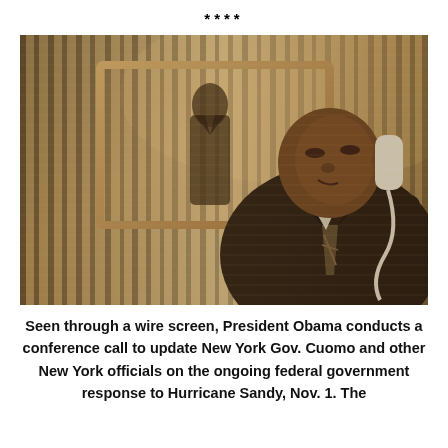****
[Figure (photo): President Obama seen through a wire screen, talking on a telephone. A person stands in the background near curtains. Warm, dimly lit indoor setting.]
Seen through a wire screen, President Obama conducts a conference call to update New York Gov. Cuomo and other New York officials on the ongoing federal government response to Hurricane Sandy, Nov. 1. The